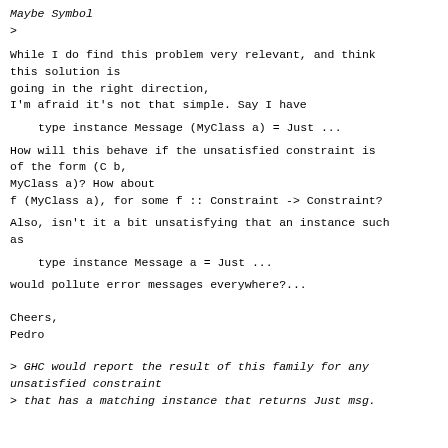Maybe Symbol
>
While I do find this problem very relevant, and think this solution is
going in the right direction,
I'm afraid it's not that simple. Say I have
type instance Message (MyClass a) = Just ...
How will this behave if the unsatisfied constraint is of the form (C b,
MyClass a)? How about
f (MyClass a), for some f :: Constraint -> Constraint?
Also, isn't it a bit unsatisfying that an instance such as
type instance Message a = Just ...
would pollute error messages everywhere?...
Cheers,
Pedro
> GHC would report the result of this family for any unsatisfied constraint
> that has a matching instance that returns Just msg.